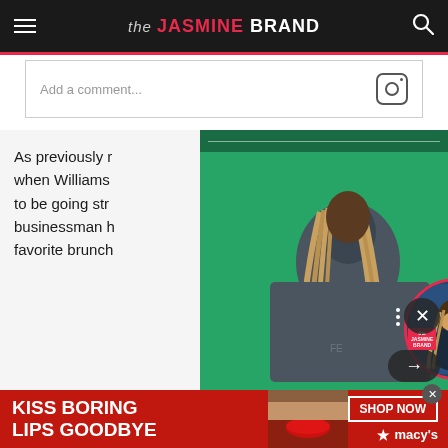the JASMINE BRAND
Add a comment...
[Figure (screenshot): Video overlay showing a rapper with long braids in a green-screen studio, with a circular profile photo of a masked person overlaid.]
As previously r... when Williams... to be going str... businessman h... favorite brunc...
[Figure (photo): Advertisement banner: KISS BORING LIPS GOODBYE with woman's face and red lipstick, SHOP NOW button, Macy's star logo]